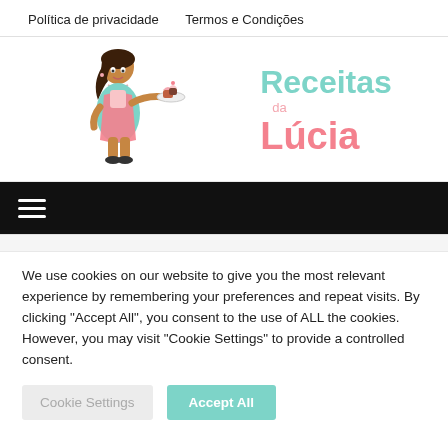Política de privacidade   Termos e Condições
[Figure (logo): Receitas da Lúcia logo — cartoon woman in pink apron holding cupcakes, with teal and pink text 'Receitas da Lúcia']
[Figure (infographic): Black navigation bar with white hamburger menu icon (three horizontal lines)]
We use cookies on our website to give you the most relevant experience by remembering your preferences and repeat visits. By clicking "Accept All", you consent to the use of ALL the cookies. However, you may visit "Cookie Settings" to provide a controlled consent.
Cookie Settings   Accept All